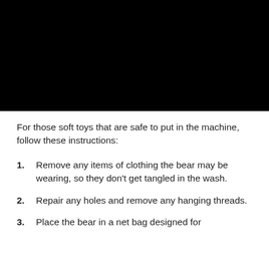[Figure (photo): Black rectangular image at top of page, content obscured]
For those soft toys that are safe to put in the machine, follow these instructions:
Remove any items of clothing the bear may be wearing, so they don't get tangled in the wash.
Repair any holes and remove any hanging threads.
Place the bear in a net bag designed for